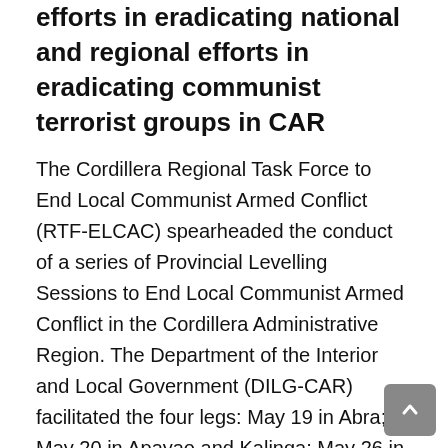efforts in eradicating national and regional efforts in eradicating communist terrorist groups in CAR
The Cordillera Regional Task Force to End Local Communist Armed Conflict (RTF-ELCAC) spearheaded the conduct of a series of Provincial Levelling Sessions to End Local Communist Armed Conflict in the Cordillera Administrative Region. The Department of the Interior and Local Government (DILG-CAR) facilitated the four legs: May 19 in Abra; May 20 in Apayao and Kalinga; May 26 in Baguio City and Benguet; and May 27 in Ifugao and Mountain Province.
Key officials from the national and regional task forces along with representatives from the different regional line agencies, local government units, civil society organizations, private sectors, and barangay officials of the Cordillera region participated in the levelling sessions.
The levelling sessions aimed to harmonize local efforts...